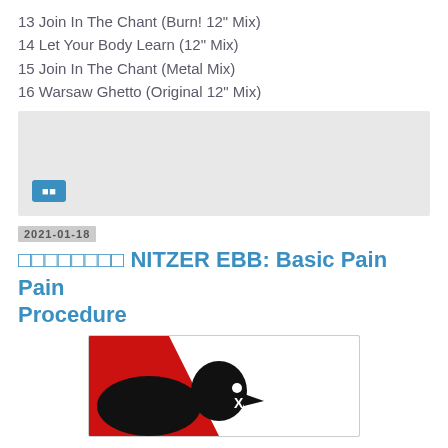13 Join In The Chant (Burn! 12" Mix)
14 Let Your Body Learn (12" Mix)
15 Join In The Chant (Metal Mix)
16 Warsaw Ghetto (Original 12" Mix)
[Figure (other): Grey placeholder box with a blue button containing two small square icons]
2021-01-18
□□□□□□□□ NITZER EBB: Basic Pain Procedure
[Figure (illustration): Album art for Nitzer EBB Basic Pain Procedure: red and white geometric background with black silhouette of an eagle head facing right, with an X mark on its body]